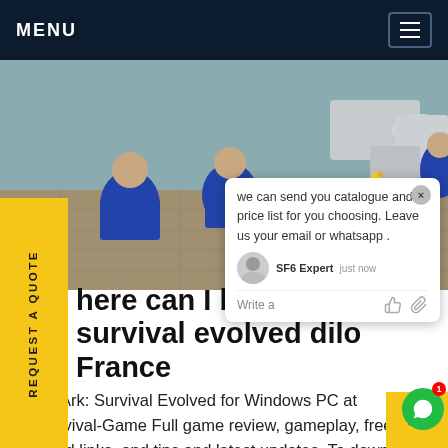MENU
[Figure (photo): Workers in blue uniforms working on a rooftop with large industrial pipes/cylinders. Construction or industrial maintenance scene.]
we can send you catalogue and price list for you choosing. Leave us your email or whatsapp .
SF6 Expert   just now
Write a
here can I buy ark survival evolved dilo France
wnload Ark: Survival Evolved for Windows PC at ARKSurvival-Game Full game review, gameplay, free download links, and tips and latest updates. To download and install Ark: Survival Evolved for PC,